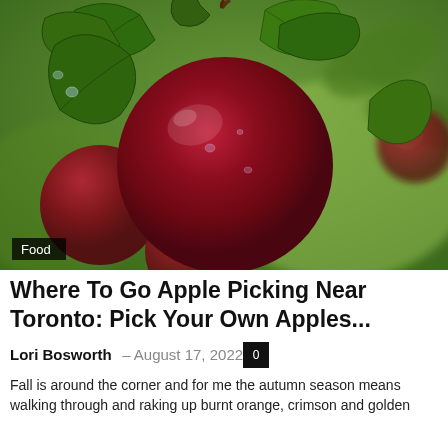[Figure (photo): Close-up photo of deep red apples hanging on a tree branch with green leaves, orchard in background. A 'Food' category label is overlaid in the bottom-left corner.]
Where To Go Apple Picking Near Toronto: Pick Your Own Apples...
Lori Bosworth – August 17, 2022
Fall is around the corner and for me the autumn season means walking through and raking up burnt orange, crimson and golden